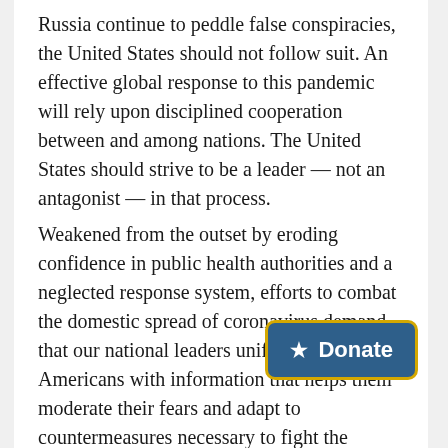Russia continue to peddle false conspiracies, the United States should not follow suit. An effective global response to this pandemic will rely upon disciplined cooperation between and among nations. The United States should strive to be a leader — not an antagonist — in that process.
Weakened from the outset by eroding confidence in public health authorities and a neglected response system, efforts to combat the domestic spread of coronavirus demand that our national leaders unify and provide Americans with information that helps them moderate their fears and adapt to countermeasures necessary to fight the disease. Disseminating unsubstantiated claims that Covid-19 is a Chinese bioweapon serves neither objective, and threatens to divert attention away from areas where it is urgently needed to
[Figure (other): Donate button with a star icon, dark blue background and yellow border, labeled 'Donate']